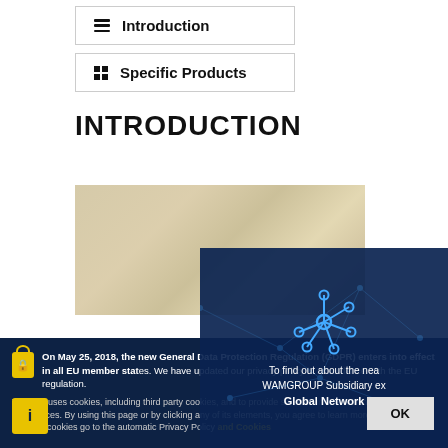Introduction
Specific Products
INTRODUCTION
[Figure (photo): Blurred photo of a person working at a computer/desk, used as an introductory image for a web page about data protection.]
On May 25, 2018, the new General Data Protection Regulation (GDPR) enters into effect in all EU member states. We have updated our privacy policy in accordance with the EU regulation.
This site uses cookies, including third party cookies, and to provide services in line with your preferences. By using this page or by clicking any of its elements, you agree to the use of cookies. To learn more or opt out of all or some cookies go to the automatic Privacy Policy and Cookies
[Figure (infographic): Network graph icon with connected nodes on dark blue background. Text reads: 'To find out about the nearest WAMGROUP Subsidiary explore the Global Network']